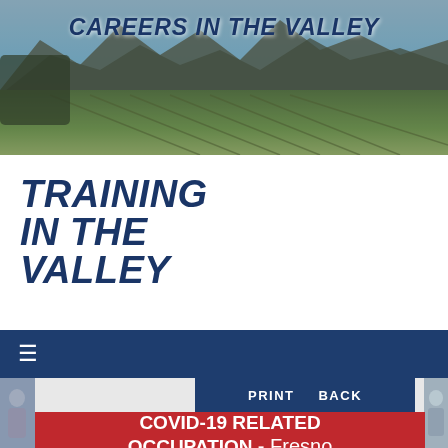[Figure (photo): Mountain and vineyard landscape banner photo with blue sky and hills covered in green rows of crops]
CAREERS IN THE VALLEY
TRAINING IN THE VALLEY
≡
PRINT   BACK
COVID-19 RELATED OCCUPATION - Fresno County